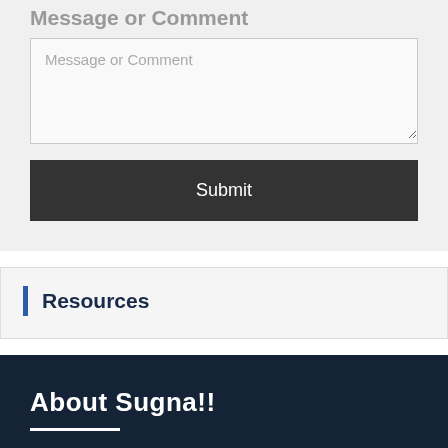Message or Comment
Message or Comment (placeholder in textarea)
Submit
Resources
About Sugna!!